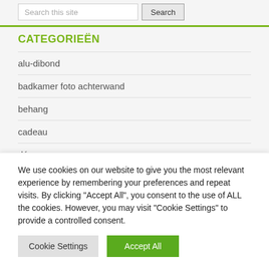Search this site  Search
CATEGORIEËN
alu-dibond
badkamer foto achterwand
behang
cadeau
décor
We use cookies on our website to give you the most relevant experience by remembering your preferences and repeat visits. By clicking "Accept All", you consent to the use of ALL the cookies. However, you may visit "Cookie Settings" to provide a controlled consent.